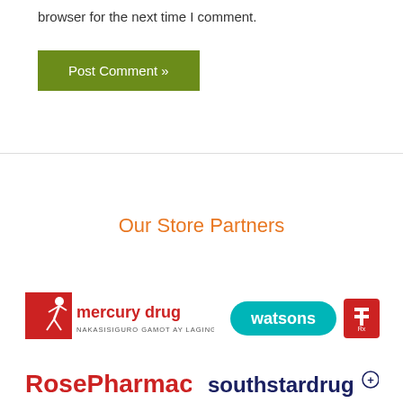browser for the next time I comment.
[Figure (other): Post Comment button - green rectangular button with white text 'Post Comment »']
Our Store Partners
[Figure (logo): Mercury Drug logo - red square with running figure, text 'mercury drug' in red, tagline 'NAKASISIGURO GAMOT AY LAGING BAGO']
[Figure (logo): Watsons logo - teal rounded rectangle with 'watsons' in white, plus a red cross pharmacy symbol]
[Figure (logo): Rose Pharmacy logo - red text 'Rose Pharmacy']
[Figure (logo): Southstar Drug logo - dark blue text 'southstar drug' with registered trademark circle-plus symbol]